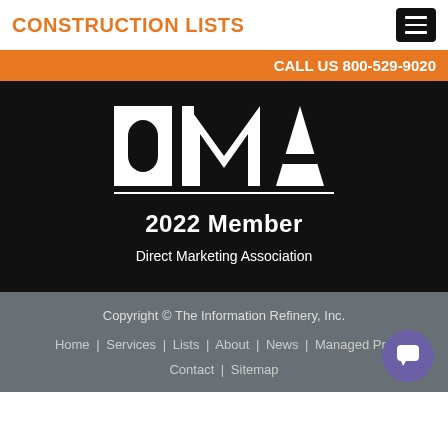CONSTRUCTION LISTS
CALL US 800-529-9020
[Figure (logo): DMA 2022 Member logo on black background with text 'Direct Marketing Association']
Copyright © The Information Refinery, Inc. | Home | Services | Lists | About | News | Managed Pro... | Contact | Sitemap